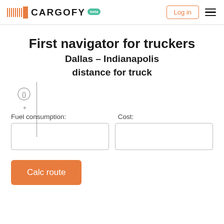[Figure (logo): Cargofy logo with orange barcode-like lines, orange square, bold CARGOFY text, and teal 'beta' badge]
Log in
First navigator for truckers
Dallas – Indianapolis distance for truck
[Figure (illustration): Small circular icon with curly braces symbol and a plus sign below]
Fuel consumption:
Cost:
Calc route